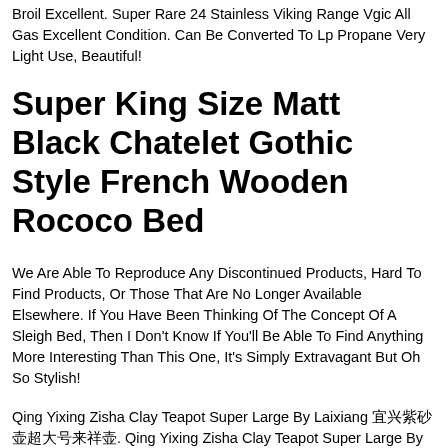Broil Excellent. Super Rare 24 Stainless Viking Range Vgic All Gas Excellent Condition. Can Be Converted To Lp Propane Very Light Use, Beautiful!
Super King Size Matt Black Chatelet Gothic Style French Wooden Rococo Bed
We Are Able To Reproduce Any Discontinued Products, Hard To Find Products, Or Those That Are No Longer Available Elsewhere. If You Have Been Thinking Of The Concept Of A Sleigh Bed, Then I Don't Know If You'll Be Able To Find Anything More Interesting Than This One, It's Simply Extravagant But Oh So Stylish!
Qing Yixing Zisha Clay Teapot Super Large By Laixiang 宜兴紫砂壶超大号来祥壶. Qing Yixing Zisha Clay Teapot Super Large By Laixiang . Made In The The Great Qing Dynasty.
For Ford F-250 Super Duty 17 6" X 6" Radius Arm Front & Rear